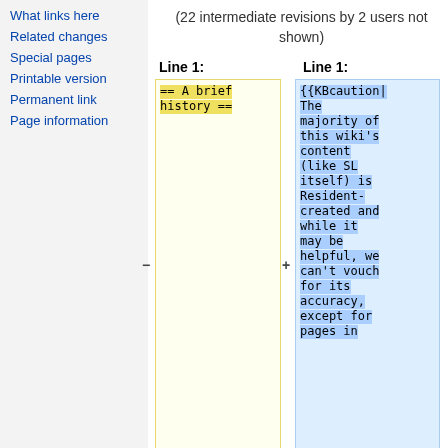What links here
Related changes
Special pages
Printable version
Permanent link
Page information
(22 intermediate revisions by 2 users not shown)
Line 1: (left diff column header)
Line 1: (right diff column header)
== A brief history == (yellow diff box, highlighted)
{{KBcaution|The majority of this wiki's content (like SL itself) is Resident-created and while it may be helpful, we can't vouch for its accuracy, except for pages in (blue diff box, highlighted)